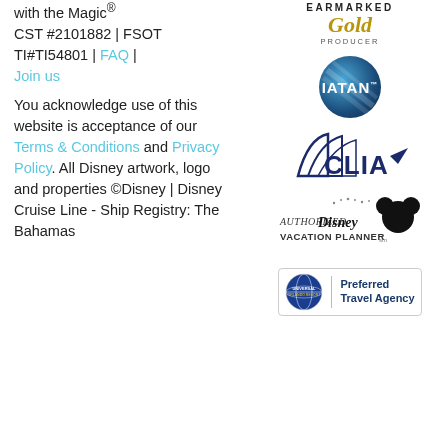with the Magic® CST #2101882 | FSOT TI#TI54801 | FAQ | Join us
You acknowledge use of this website is acceptance of our Terms & Conditions and Privacy Policy. All Disney artwork, logo and properties ©Disney | Disney Cruise Line - Ship Registry: The Bahamas
[Figure (logo): Earmarked Gold Producer badge]
[Figure (logo): IATAN logo - blue circular badge with IATAN text]
[Figure (logo): CLIA logo - dark blue nautical/cruise line logo]
[Figure (logo): Authorized Disney Vacation Planner logo]
[Figure (logo): Universal Studios - Preferred Travel Agency logo]